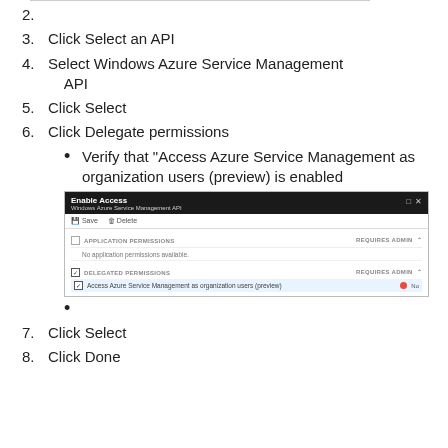2.
3. Click Select an API
4. Select Windows Azure Service Management API
5. Click Select
6. Click Delegate permissions
Verify that “Access Azure Service Management as organization users (preview) is enabled
[Figure (screenshot): Enable Access dialog for Windows Azure Service Management API showing Application Permissions (none available) and Delegated Permissions with 'Access Azure Service Management as organization users (preview)' checked and marked No for Requires Admin]
7. Click Select
8. Click Done